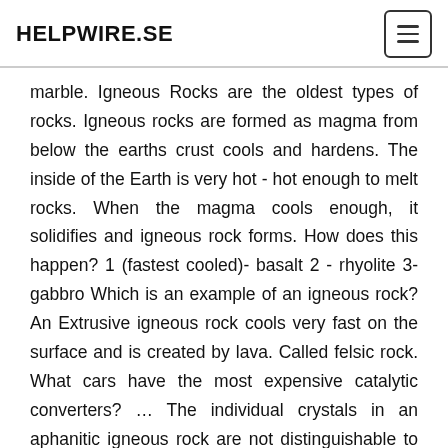HELPWIRE.SE
marble. Igneous Rocks are the oldest types of rocks. Igneous rocks are formed as magma from below the earths crust cools and hardens. The inside of the Earth is very hot - hot enough to melt rocks. When the magma cools enough, it solidifies and igneous rock forms. How does this happen? 1 (fastest cooled)- basalt 2 - rhyolite 3- gabbro Which is an example of an igneous rock? An Extrusive igneous rock cools very fast on the surface and is created by lava. Called felsic rock. What cars have the most expensive catalytic converters? … The individual crystals in an aphanitic igneous rock are not distinguishable to the naked eye. Gabbro and granite are examples of intrusive igneous rocks. The magma, called lava when molten rock erupts